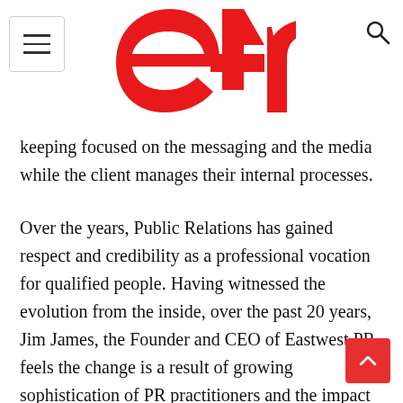e4m
keeping focused on the messaging and the media while the client manages their internal processes.
Over the years, Public Relations has gained respect and credibility as a professional vocation for qualified people. Having witnessed the evolution from the inside, over the past 20 years, Jim James, the Founder and CEO of Eastwest PR feels the change is a result of growing sophistication of PR practitioners and the impact of technology. As Eastwest celebrates completion of 20 years, it is also on the lookout for a global partner. In conversation with Rashi Bisaria, James speaks about where the industry is headed and Eastwest's role in it. Edited excerpts: